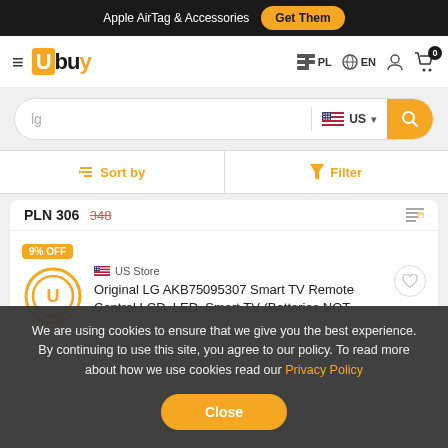Apple AirTag & Accessories  Get Them
[Figure (logo): Ubuy logo with hamburger menu, navigation icons PL EN, user icon, cart with badge 0]
[Figure (screenshot): Search bar with text 'lg', US flag store selector, and yellow search button]
[Figure (screenshot): Sort by and Filter bar with orange icons]
PLN 306  348
9% OFF  US Store  Original LG AKB75095307 Smart TV Remote Control LCD, LED, Smart TV (Batteries NOT
We are using cookies to ensure that we give you the best experience. By continuing to use this site, you agree to our policy. To read more about how we use cookies read our Privacy Policy
Close